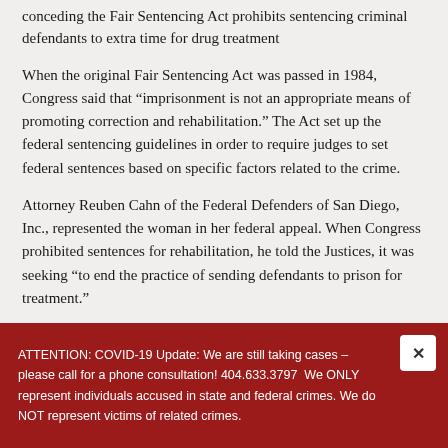conceding the Fair Sentencing Act prohibits sentencing criminal defendants to extra time for drug treatment
When the original Fair Sentencing Act was passed in 1984, Congress said that “imprisonment is not an appropriate means of promoting correction and rehabilitation.” The Act set up the federal sentencing guidelines in order to require judges to set federal sentences based on specific factors related to the crime.
Attorney Reuben Cahn of the Federal Defenders of San Diego, Inc., represented the woman in her federal appeal. When Congress prohibited sentences for rehabilitation, he told the Justices, it was seeking “to end the practice of sending defendants to prison for treatment.”
ATTENTION: COVID-19 Update: We are still taking cases – please call for a phone consultation! 404.633.3797  We ONLY represent individuals accused in state and federal crimes. We do NOT represent victims of related crimes.